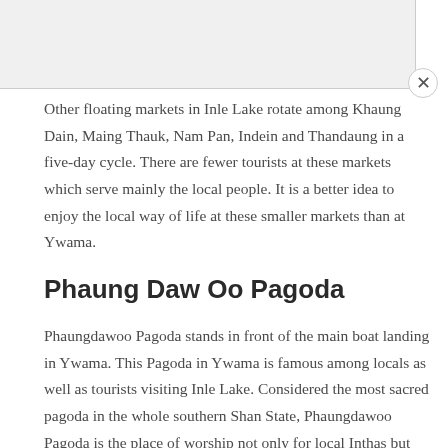Other floating markets in Inle Lake rotate among Khaung Dain, Maing Thauk, Nam Pan, Indein and Thandaung in a five-day cycle. There are fewer tourists at these markets which serve mainly the local people. It is a better idea to enjoy the local way of life at these smaller markets than at Ywama.
Phaung Daw Oo Pagoda
Phaungdawoo Pagoda stands in front of the main boat landing in Ywama. This Pagoda in Ywama is famous among locals as well as tourists visiting Inle Lake. Considered the most sacred pagoda in the whole southern Shan State, Phaungdawoo Pagoda is the place of worship not only for local Inthas but also for other Shan people